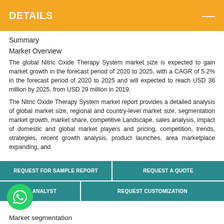DETAILS
Summary
Market Overview
The global Nitric Oxide Therapy System market size is expected to gain market growth in the forecast period of 2020 to 2025, with a CAGR of 5.2% in the forecast period of 2020 to 2025 and will expected to reach USD 36 million by 2025, from USD 29 million in 2019.
The Nitric Oxide Therapy System market report provides a detailed analysis of global market size, regional and country-level market size, segmentation market growth, market share, competitive Landscape, sales analysis, impact of domestic and global market players and pricing, competition, trends, strategies, recent growth analysis, product launches, area marketplace expanding, and
Market segmentation